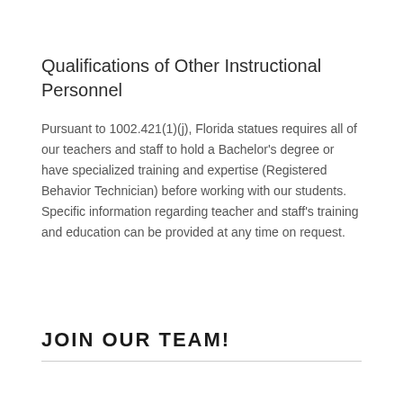Qualifications of Other Instructional Personnel
Pursuant to 1002.421(1)(j), Florida statues requires all of our teachers and staff to hold a Bachelor's degree or have specialized training and expertise (Registered Behavior Technician) before working with our students. Specific information regarding teacher and staff's training and education can be provided at any time on request.
JOIN OUR TEAM!